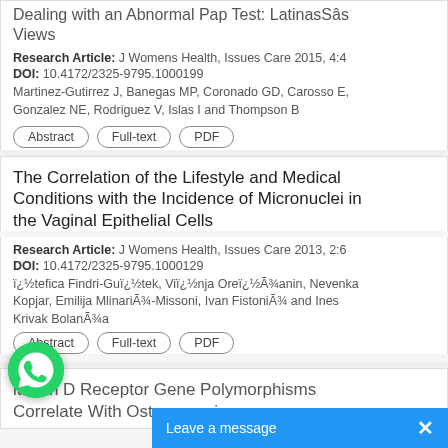Dealing with an Abnormal Pap Test: LatinasSâs Views
Research Article: J Womens Health, Issues Care 2015, 4:4
DOI: 10.4172/2325-9795.1000199
Martinez-Gutirrez J, Banegas MP, Coronado GD, Carosso E, Gonzalez NE, Rodriguez V, Islas I and Thompson B
Abstract | Full-text | PDF
The Correlation of the Lifestyle and Medical Conditions with the Incidence of Micronuclei in the Vaginal Epithelial Cells
Research Article: J Womens Health, Issues Care 2013, 2:6
DOI: 10.4172/2325-9795.1000129
ï¿½tefica Findri-Guï¿½tek, Viï¿½nja Oreï¿½Ã¾anin, Nevenka Kopjar, Emilija MlinariÃ¾-Missoni, Ivan FistoniÃ¾ and Ines Krivak BolanÃ¾a
Abstract | Full-text | PDF
Vitamin D Receptor Gene Polymorphisms Correlate With Osteoporosi...